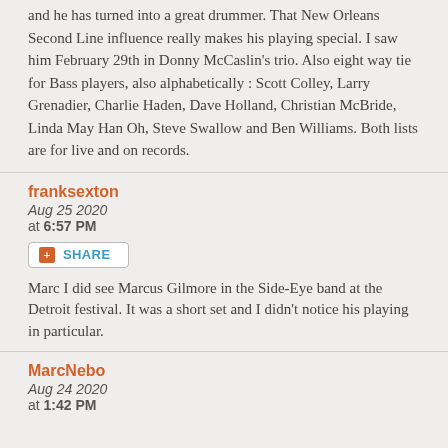and he has turned into a great drummer. That New Orleans Second Line influence really makes his playing special. I saw him February 29th in Donny McCaslin's trio. Also eight way tie for Bass players, also alphabetically : Scott Colley, Larry Grenadier, Charlie Haden, Dave Holland, Christian McBride, Linda May Han Oh, Steve Swallow and Ben Williams. Both lists are for live and on records.
franksexton
Aug 25 2020
at 6:57 PM
[Figure (other): Share button with orange square icon and SHARE text in teal]
Marc I did see Marcus Gilmore in the Side-Eye band at the Detroit festival. It was a short set and I didn't notice his playing in particular.
MarcNebo
Aug 24 2020
at 1:42 PM